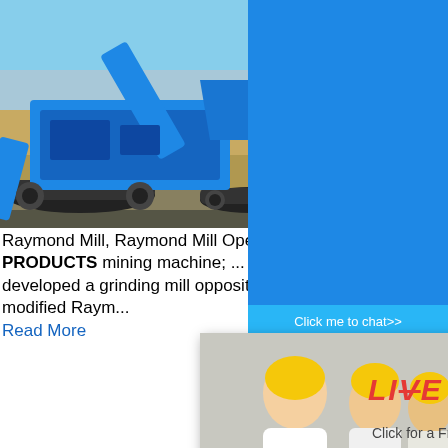[Figure (photo): Blue mobile crushing machine / jaw crusher on tracks in a desert/quarry setting with sandy terrain and light blue sky]
Raymond Mill, Raymond Mill Operation
PRODUCTS mining machine; ... of raymond mill, then developed a grinding mill opposite principle and this is called modified Raym...
Read More
[Figure (photo): Aerial view of a quarry or mining site with earthen terrain, machinery and processing equipment visible in the distance]
[Figure (infographic): Live Chat popup overlay with three workers in yellow helmets, red LIVE CHAT text, 'Click for a Free Consultation' subtitle, Chat now (red) and Chat later (dark) buttons]
[Figure (photo): Right sidebar showing blue background with 'hour online' text, heavy crusher machine image, 'Click me to chat>>' button, 'Enquiry' section, and 'limingjlmofen' text]
The difference between Dolomite Raymond
Dolomite Raymond mill and Dolomite Ball M... equipment for grinding materials,Dolomite B... Dolomite Raymond mill are also Dolomite C...